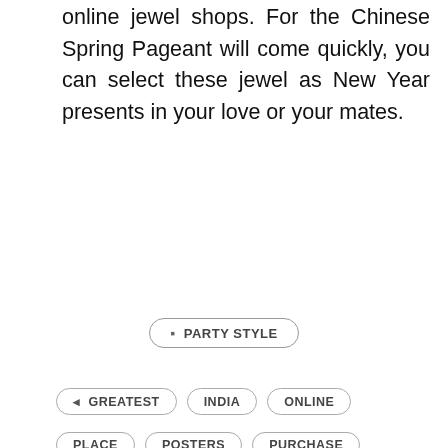online jewel shops. For the Chinese Spring Pageant will come quickly, you can select these jewel as New Year presents in your love or your mates.
PARTY STYLE
GREATEST  INDIA  ONLINE  PLACE  POSTERS  PURCHASE
< PREV POST
A Transient History Of
NEXT POST
Unlock The Wii Without A